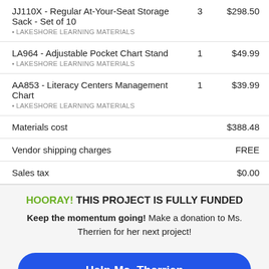| Item | Qty | Price |
| --- | --- | --- |
| JJ110X - Regular At-Your-Seat Storage Sack - Set of 10 • LAKESHORE LEARNING MATERIALS | 3 | $298.50 |
| LA964 - Adjustable Pocket Chart Stand • LAKESHORE LEARNING MATERIALS | 1 | $49.99 |
| AA853 - Literacy Centers Management Chart • LAKESHORE LEARNING MATERIALS | 1 | $39.99 |
Materials cost  $388.48
Vendor shipping charges  FREE
Sales tax  $0.00
HOORAY! THIS PROJECT IS FULLY FUNDED
Keep the momentum going! Make a donation to Ms. Therrien for her next project!
Help Ms. Therrien